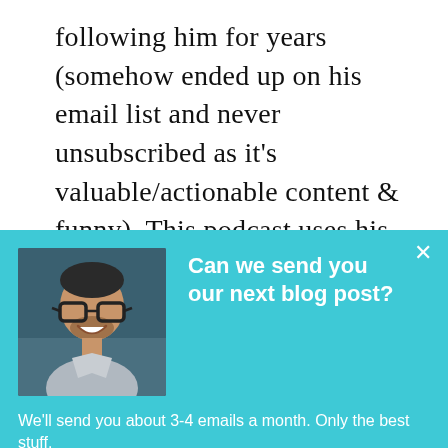following him for years (somehow ended up on his email list and never unsubscribed as it's valuable/actionable content & funny). This podcast uses his energetic, funny, & insightful personality to discuss marketing & entrepreneurship
[Figure (screenshot): A teal popup overlay showing a man's headshot photo on the left, bold white heading 'Can we send you our next blog post?' on the right, subtext 'We'll send you about 3-4 emails a month. Only the best stuff.' and a white subscribe button with text 'Subscribe to the blog', plus a close X button and a chat bubble icon.]